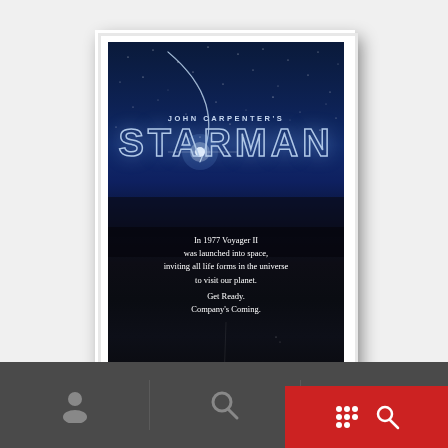[Figure (illustration): Movie poster for John Carpenter's STARMAN (1984). Dark blue/black starfield background with shooting star arc. Large outlined text 'JOHN CARPENTER'S STARMAN'. Tagline: 'In 1977 Voyager II was launched into space, inviting all life forms in the universe to visit our planet. Get Ready. Company's Coming.' White border around poster with drop shadow on light gray page background. Bottom of page shows a dark mobile app navigation bar with person icon, search icon, and red button with filter/search icons.]
In 1977 Voyager II was launched into space, inviting all life forms in the universe to visit our planet. Get Ready. Company's Coming.